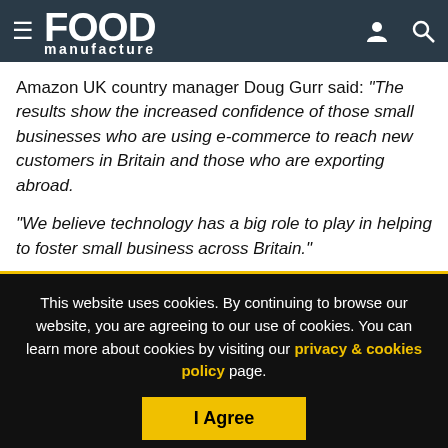Food Manufacture
Amazon UK country manager Doug Gurr said: “The results show the increased confidence of those small businesses who are using e-commerce to reach new customers in Britain and those who are exporting abroad.

“We believe technology has a big role to play in helping to foster small business across Britain.”
This website uses cookies. By continuing to browse our website, you are agreeing to our use of cookies. You can learn more about cookies by visiting our privacy & cookies policy page.